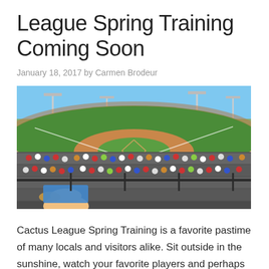League Spring Training Coming Soon
January 18, 2017 by Carmen Brodeur
[Figure (photo): Panoramic view of a baseball spring training stadium filled with spectators, green field, blue sky, and stadium lights. Crowds in foreground watching from stands.]
Cactus League Spring Training is a favorite pastime of many locals and visitors alike. Sit outside in the sunshine, watch your favorite players and perhaps even enjoy a drink. Scottsdale is host to some of the best Cactus League teams at two fantastic